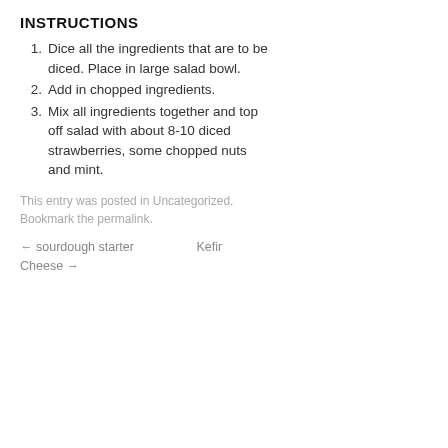INSTRUCTIONS
Dice all the ingredients that are to be diced. Place in large salad bowl.
Add in chopped ingredients.
Mix all ingredients together and top off salad with about 8-10 diced strawberries, some chopped nuts and mint.
This entry was posted in Uncategorized. Bookmark the permalink.
← sourdough starter   Kefir Cheese →